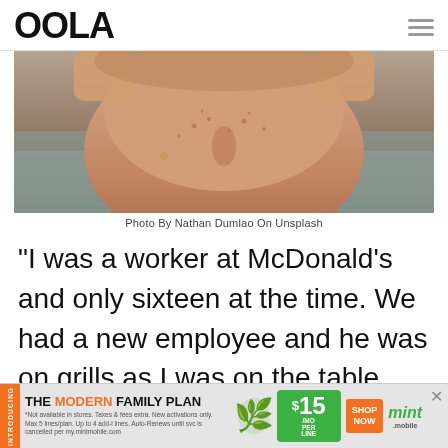OOLA
[Figure (photo): Close-up photo of a young person with freckles and their hands raised to their head, viewed from above/front, outdoor background]
Photo By Nathan Dumlao On Unsplash
“I was a worker at McDonald’s and only sixteen at the time. We had a new employee and he was on grills as I was on the table right behind
[Figure (infographic): Advertisement banner: INTRODUCING THE MODERN FAMILY PLAN from $15/MO PER LINE SHOP NOW mint mobile]